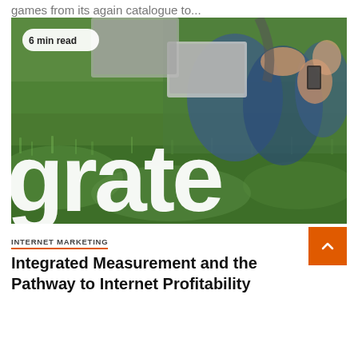games from its again catalogue to...
[Figure (photo): Photo of students sitting on grass with laptops and phones, with large white text 'grate' overlaid. A badge reads '6 min read'.]
INTERNET MARKETING
Integrated Measurement and the Pathway to Internet Profitability